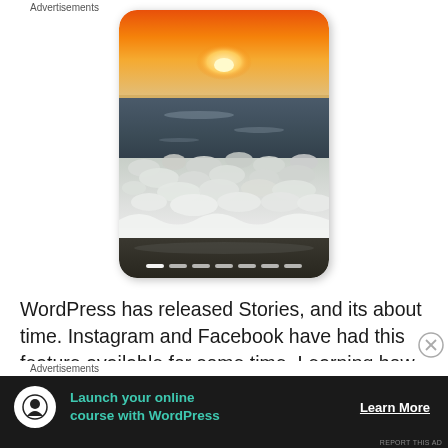[Figure (photo): A smartphone screen showing a beach sunset photo with ocean waves and foam in the foreground, orange sky with sun on the horizon. Slide indicator dots visible at the bottom.]
WordPress has released Stories, and its about time. Instagram and Facebook have had this feature available for some time. Learning how to get the most out of the stories is the next challenge and
Advertisements
[Figure (screenshot): Advertisement banner: dark background with tree/person icon, teal text 'Launch your online course with WordPress', white 'Learn More' link. Small label 'REPORT THIS AD' at bottom right.]